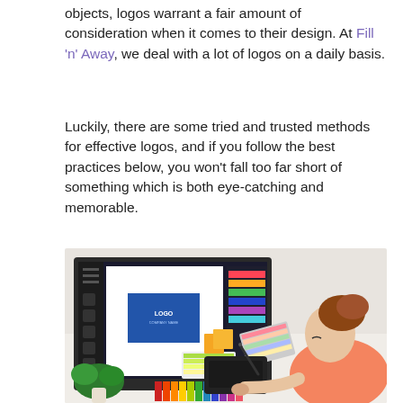objects, logos warrant a fair amount of consideration when it comes to their design. At Fill 'n' Away, we deal with a lot of logos on a daily basis.
Luckily, there are some tried and trusted methods for effective logos, and if you follow the best practices below, you won't fall too far short of something which is both eye-catching and memorable.
[Figure (photo): A woman with auburn hair in a bun, wearing a coral/salmon top, sitting at a desk working on a logo design in a graphic design software on a large monitor, holding color swatches and a stylus pen, with additional color swatch fans on the desk and a green plant nearby.]